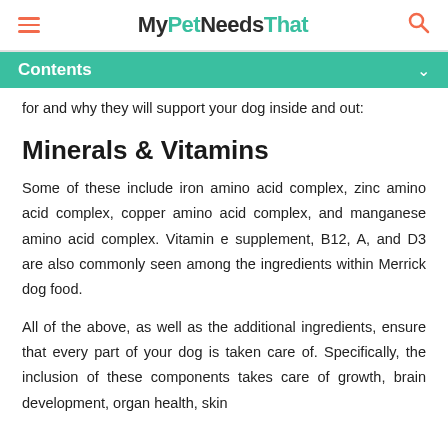MyPetNeedsThat
for and why they will support your dog inside and out:
Minerals & Vitamins
Some of these include iron amino acid complex, zinc amino acid complex, copper amino acid complex, and manganese amino acid complex. Vitamin e supplement, B12, A, and D3 are also commonly seen among the ingredients within Merrick dog food.
All of the above, as well as the additional ingredients, ensure that every part of your dog is taken care of. Specifically, the inclusion of these components takes care of growth, brain development, organ health, skin